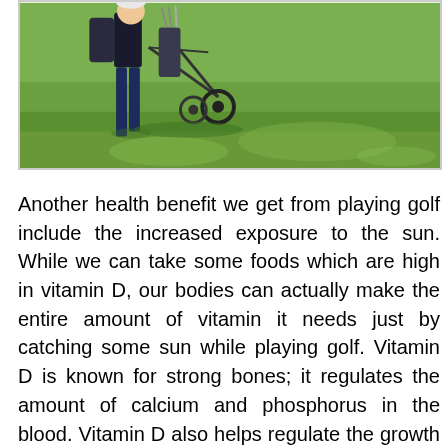[Figure (photo): Photo of a golfer pulling a golf cart/trolley across a green golf course on a sunny day. The image shows the lower portion with green grass and a person walking with a wheeled golf bag trolley.]
Another health benefit we get from playing golf include the increased exposure to the sun. While we can take some foods which are high in vitamin D, our bodies can actually make the entire amount of vitamin it needs just by catching some sun while playing golf. Vitamin D is known for strong bones; it regulates the amount of calcium and phosphorus in the blood. Vitamin D also helps regulate the growth of skin cells. Vitamin D is famous for its effects on bone health, but it has now been shown to lower risk of some cancers. There is evidence that vitamin D can lower the risk of developing breast, ovarian, colon and pancreatic cancers. And it is quite essential for the body since it helps in regulating the amount of phosphorous and calcium in the body, as well as